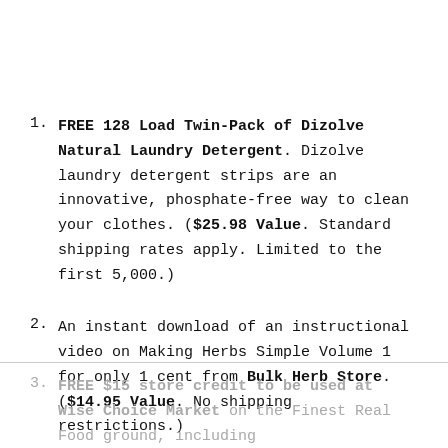FREE 128 Load Twin-Pack of Dizolve Natural Laundry Detergent. Dizolve laundry detergent strips are an innovative, phosphate-free way to clean your clothes. ($25.98 Value. Standard shipping rates apply. Limited to the first 5,000.)
An instant download of an instructional video on Making Herbs Simple Volume 1 for only 1 cent from Bulk Herb Store. ($14.95 Value. No shipping restrictions.)
FREE $15 store credit to be used at Wise Choice Market on the Finest Real Food ground, including